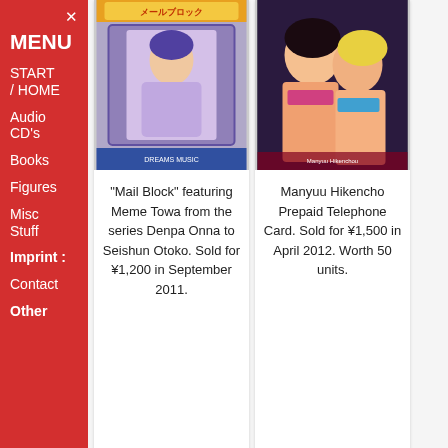×
MENU
START / HOME
Audio CD's
Books
Figures
Misc Stuff
Imprint :
Contact
Other
[Figure (photo): Mail Block anime card featuring Meme Towa from Denpa Onna to Seishun Otoko]
"Mail Block" featuring Meme Towa from the series Denpa Onna to Seishun Otoko. Sold for ¥1,200 in September 2011.
[Figure (photo): Manyuu Hikenchou anime prepaid telephone card illustration]
Manyuu Hikencho Prepaid Telephone Card. Sold for ¥1,500 in April 2012. Worth 50 units.